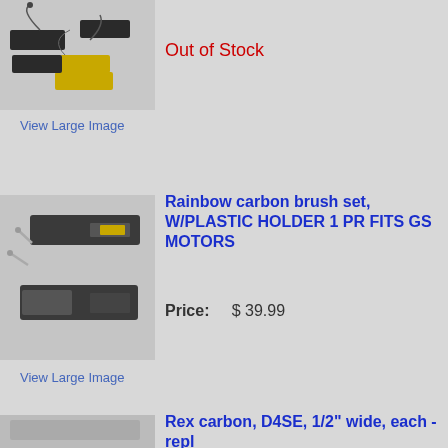[Figure (photo): Carbon brush set with gold and black components, springs and wires on gray background]
Out of Stock
View Large Image
[Figure (photo): Rainbow carbon brush set with plastic holder, showing two brush assemblies and screws]
Rainbow carbon brush set, W/PLASTIC HOLDER 1 PR FITS GS MOTORS
Price:    $ 39.99
View Large Image
Rex carbon, D4SE, 1/2" wide, each - repl